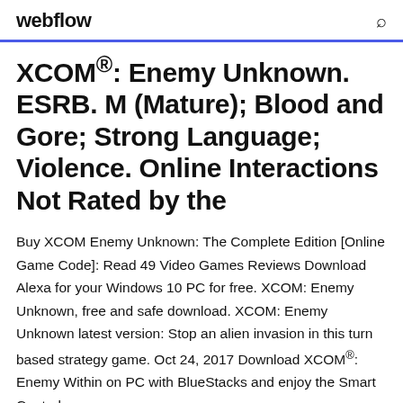webflow
XCOM®: Enemy Unknown. ESRB. M (Mature); Blood and Gore; Strong Language; Violence. Online Interactions Not Rated by the
Buy XCOM Enemy Unknown: The Complete Edition [Online Game Code]: Read 49 Video Games Reviews Download Alexa for your Windows 10 PC for free. XCOM: Enemy Unknown, free and safe download. XCOM: Enemy Unknown latest version: Stop an alien invasion in this turn based strategy game. Oct 24, 2017 Download XCOM®: Enemy Within on PC with BlueStacks and enjoy the Smart Controls